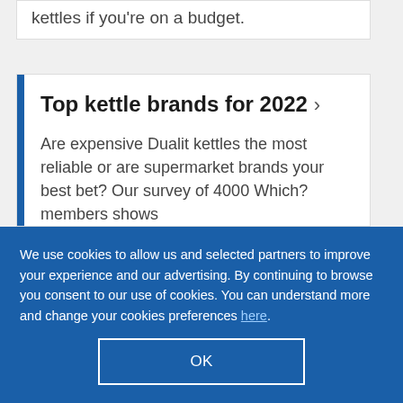kettles if you're on a budget.
Top kettle brands for 2022 >
Are expensive Dualit kettles the most reliable or are supermarket brands your best bet? Our survey of 4000 Which? members shows
We use cookies to allow us and selected partners to improve your experience and our advertising. By continuing to browse you consent to our use of cookies. You can understand more and change your cookies preferences here.
OK